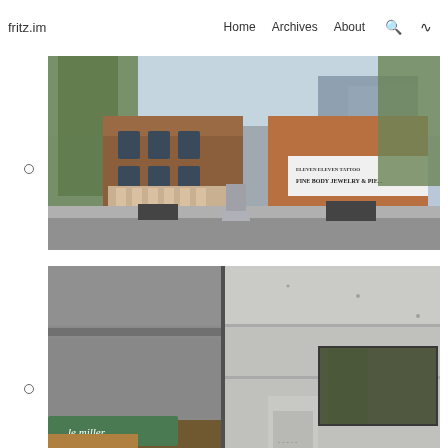fritz.im   Home   Archives   About
[Figure (photo): Street-level photograph of a downtown area with historic brick buildings, trees in early spring foliage, outdoor seating, a monument or fountain in the center, and a sign reading 'FINE BODY JEWELRY & ...' on a white banner on a brick building.]
[Figure (photo): Close-up photograph of building facades showing contrasting old brick and modern concrete architecture, with a green sign partially reading 'le miller' visible in the lower left, and a recessed entrance area visible through a large window.]